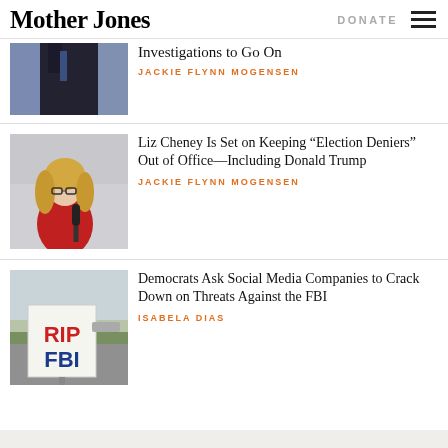Mother Jones | DONATE
[Figure (photo): Partial photo of a man in a suit with American flag in background]
Investigations to Go On
JACKIE FLYNN MOGENSEN
[Figure (photo): Photo of Liz Cheney speaking at a microphone outdoors]
Liz Cheney Is Set on Keeping “Election Deniers” Out of Office—Including Donald Trump
JACKIE FLYNN MOGENSEN
[Figure (photo): Photo of a sign reading RIP FBI on a roadside]
Democrats Ask Social Media Companies to Crack Down on Threats Against the FBI
ISABELA DIAS